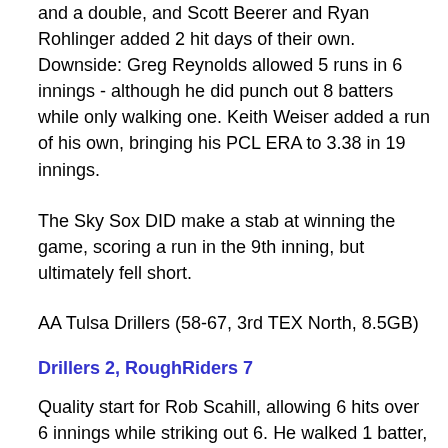and a double, and Scott Beerer and Ryan Rohlinger added 2 hit days of their own. Downside: Greg Reynolds allowed 5 runs in 6 innings - although he did punch out 8 batters while only walking one. Keith Weiser added a run of his own, bringing his PCL ERA to 3.38 in 19 innings.
The Sky Sox DID make a stab at winning the game, scoring a run in the 9th inning, but ultimately fell short.
AA Tulsa Drillers (58-67, 3rd TEX North, 8.5GB)
Drillers 2, RoughRiders 7
Quality start for Rob Scahill, allowing 6 hits over 6 innings while striking out 6. He walked 1 batter, allowed 2 runs (1ER the last in 5th inning...